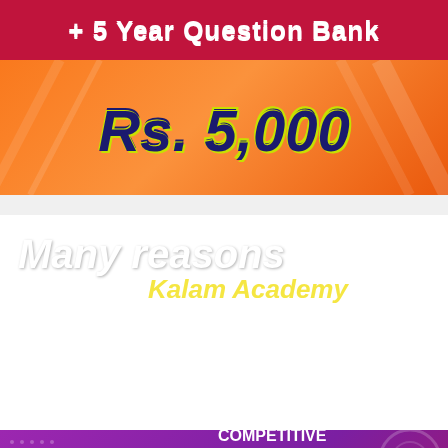+ 5 Year Question Bank
Rs. 5,000
Many reasons to choose Kalam Academy
HUNDREDS OF OUR STUDENTS HAVE BEEN SELECTED IN VARIOUS COMPETITIVE EXAMINATION. TO GET STUDY MATERIALS AND ONLINE TESTS